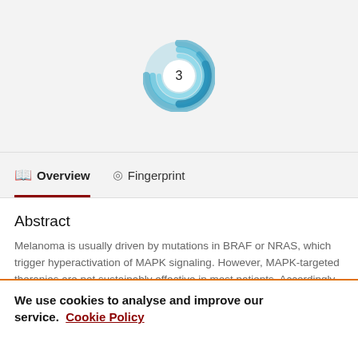[Figure (logo): Circular swirl logo badge with number 3 in the center, in teal/blue colors]
Overview
Fingerprint
Abstract
Melanoma is usually driven by mutations in BRAF or NRAS, which trigger hyperactivation of MAPK signaling. However, MAPK-targeted therapies are not sustainably effective in most patients. Accordingly, characterizing mechanisms that co-operatively drive
We use cookies to analyse and improve our service. Cookie Policy